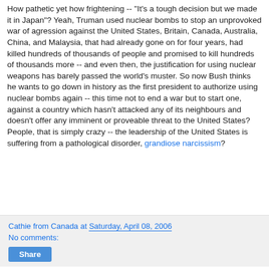How pathetic yet how frightening -- "It's a tough decision but we made it in Japan"? Yeah, Truman used nuclear bombs to stop an unprovoked war of agression against the United States, Britain, Canada, Australia, China, and Malaysia, that had already gone on for four years, had killed hundreds of thousands of people and promised to kill hundreds of thousands more -- and even then, the justification for using nuclear weapons has barely passed the world's muster. So now Bush thinks he wants to go down in history as the first president to authorize using nuclear bombs again -- this time not to end a war but to start one, against a country which hasn't attacked any of its neighbours and doesn't offer any imminent or proveable threat to the United States? People, that is simply crazy -- the leadership of the United States is suffering from a pathological disorder, grandiose narcissism?
Cathie from Canada at Saturday, April 08, 2006
No comments:
Share